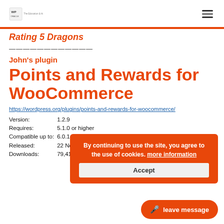[Logo: WP] [Hamburger menu icon]
Rating 5 Dragons
————————————
John's plugin
Points and Rewards for WooCommerce
https://wordpress.org/plugins/points-and-rewards-for-woocommerce/
| Field | Value |
| --- | --- |
| Version: | 1.2.9 |
| Requires: | 5.1.0 or higher |
| Compatible up to: | 6.0.1 |
| Released: | 22 November 2019 |
| Downloads: | 79,415 |
By continuing to use the site, you agree to the use of cookies. more information
Accept
leave message